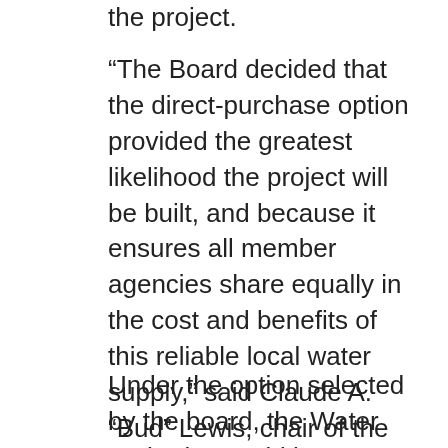the project.
“The Board decided that the direct-purchase option provided the greatest likelihood the project will be built, and because it ensures all member agencies share equally in the cost and benefits of this reliable local water supply,” said Claude A. “Bud” Lewis, chair of the Water Authority Board of Directors. “Direct purchase by the Water Authority is also the most fiscally responsible option to support the completion of this important regional project.”
Under the option selected by the board, the Water Authority would become the direct purchaser of the plant’s desalinated seawater and then sell it to its member agencies. Poseidon and nine local water agencies collectively known as the Board